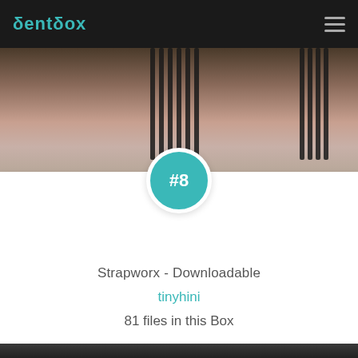BentBox
[Figure (photo): Cropped torso photo of a person wearing black strappy lingerie, lying on a striped surface]
#8
Strapworx - Downloadable
tinyhini
81 files in this Box
[Figure (photo): Blonde woman with braids holding a lollipop, wearing a black leather outfit with studded cross design, in front of a chalkboard]